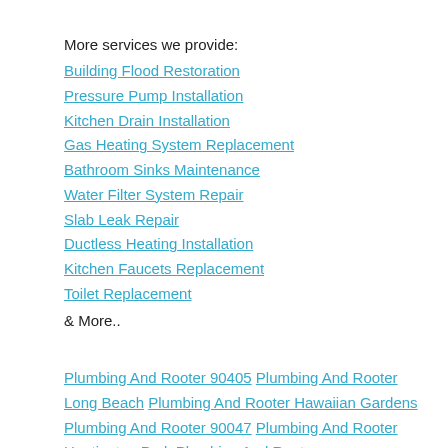More services we provide:
Building Flood Restoration
Pressure Pump Installation
Kitchen Drain Installation
Gas Heating System Replacement
Bathroom Sinks Maintenance
Water Filter System Repair
Slab Leak Repair
Ductless Heating Installation
Kitchen Faucets Replacement
Toilet Replacement
& More..
Plumbing And Rooter 90405 Plumbing And Rooter Long Beach Plumbing And Rooter Hawaiian Gardens Plumbing And Rooter 90047 Plumbing And Rooter Huntington Park Plumbing And Rooter